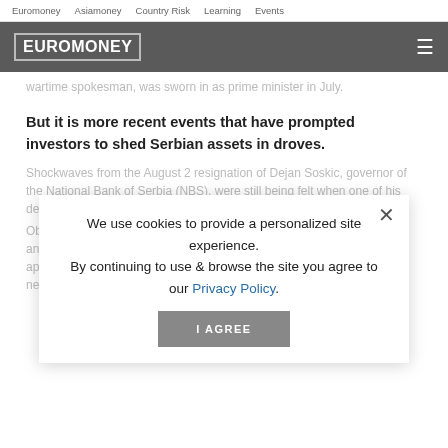Euromoney   Asiamoney   Country Risk   Learning   Events
EUROMONEY
wartime spokesman, was sworn in as prime minister in July.
But it is more recent events that have prompted investors to shed Serbian assets in droves.
Shockwaves from the August 2 resignation of Dejan Soskic, governor of the National Bank of Serbia (NBS), were still being felt when one of his deputies, Bojan Markovic, tendered his own resignation two days later.
Observers believe both were appointees of former president Boris Tadic, and that they were pushed. Both are opposed to the new president's apparent attempts to undermine central bank independence through a new law to allow...
We use cookies to provide a personalized site experience.
By continuing to use & browse the site you agree to our Privacy Policy.
I AGREE